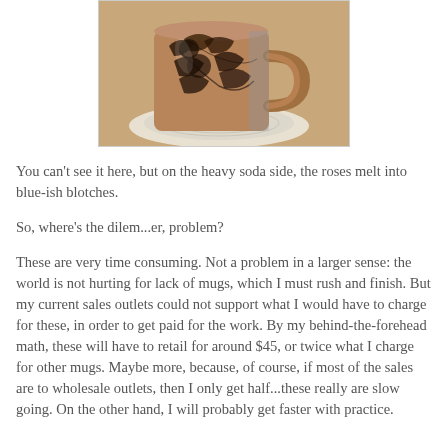[Figure (photo): A ceramic mug with dark floral rose design on a light-colored plate/saucer, photographed on a wooden surface. The mug has a handle and appears to have brownish-orange and dark decorative glaze pattern.]
You can't see it here, but on the heavy soda side, the roses melt into blue-ish blotches.
So, where's the dilem...er, problem?
These are very time consuming. Not a problem in a larger sense: the world is not hurting for lack of mugs, which I must rush and finish. But my current sales outlets could not support what I would have to charge for these, in order to get paid for the work. By my behind-the-forehead math, these will have to retail for around $45, or twice what I charge for other mugs. Maybe more, because, of course, if most of the sales are to wholesale outlets, then I only get half...these really are slow going. On the other hand, I will probably get faster with practice.